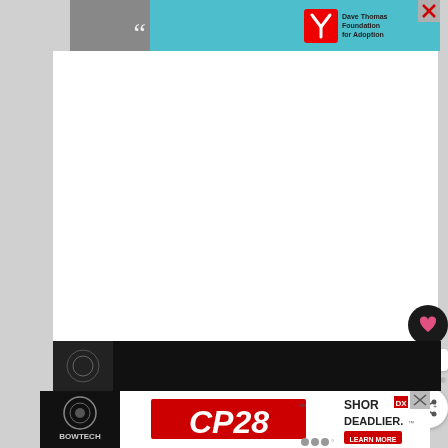[Figure (screenshot): Web page screenshot showing a teal/cyan advertisement banner at the top featuring a black and white photo of a young woman with a large quotation mark, and a Dave Thomas Foundation for Adoption logo on the right with a close button. Below is a large white blank content area. A dark circular heart/like button, a count of 5, dot indicators, and a share button appear on the right edge. At the bottom is a dark banner strip followed by a Bowtech CP28 compound bow advertisement with 'CP28' in large red letters, 'SHOR DEADLIER.' text, Bowtech logo, and a Learn More button.]